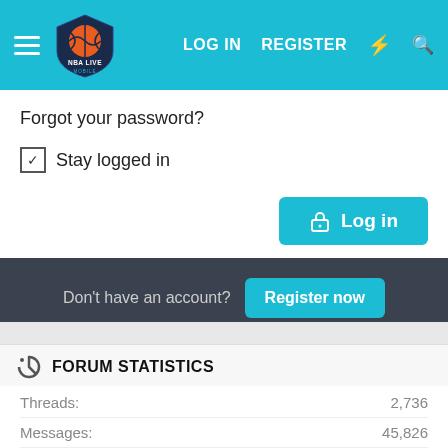NBA Live Mobile Forum — LOG IN   REGISTER
Forgot your password?
☑ Stay logged in
Log in
Don't have an account?  Register now
FORUM STATISTICS
|  |  |
| --- | --- |
| Threads: | 2,736 |
| Messages: | 45,826 |
| Members: | 2,643 |
| Latest member: | rodboy99 |
| New members today: | 0 |
| New threads today: | 0 |